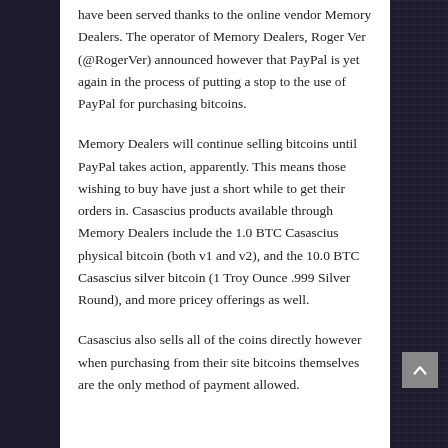have been served thanks to the online vendor Memory Dealers. The operator of Memory Dealers, Roger Ver (@RogerVer) announced however that PayPal is yet again in the process of putting a stop to the use of PayPal for purchasing bitcoins.
Memory Dealers will continue selling bitcoins until PayPal takes action, apparently. This means those wishing to buy have just a short while to get their orders in. Casascius products available through Memory Dealers include the 1.0 BTC Casascius physical bitcoin (both v1 and v2), and the 10.0 BTC Casascius silver bitcoin (1 Troy Ounce .999 Silver Round), and more pricey offerings as well.
Casascius also sells all of the coins directly however when purchasing from their site bitcoins themselves are the only method of payment allowed.